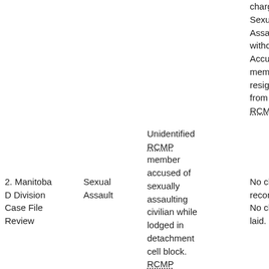| Case | Charge | Description | Outcome |
| --- | --- | --- | --- |
|  |  | charge of Sexual Assault was withdrawn. Accused member resigned from the RCMP. |  |
| 2. Manitoba D Division Case File Review | Sexual Assault | Unidentified RCMP member accused of sexually assaulting civilian while lodged in detachment cell block. RCMP members accused of assaulting | No charges recommended. No charges laid. |
| 3. Manitoba D Division | Assault Causing Bodily | assaulting | No charges recommended. |